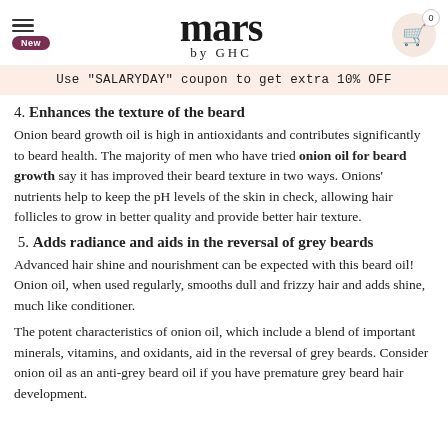mars by GHC
Use "SALARYDAY" coupon to get extra 10% OFF
4. Enhances the texture of the beard
Onion beard growth oil is high in antioxidants and contributes significantly to beard health. The majority of men who have tried onion oil for beard growth say it has improved their beard texture in two ways. Onions' nutrients help to keep the pH levels of the skin in check, allowing hair follicles to grow in better quality and provide better hair texture.
5. Adds radiance and aids in the reversal of grey beards
Advanced hair shine and nourishment can be expected with this beard oil! Onion oil, when used regularly, smooths dull and frizzy hair and adds shine, much like conditioner.
The potent characteristics of onion oil, which include a blend of important minerals, vitamins, and oxidants, aid in the reversal of grey beards. Consider onion oil as an anti-grey beard oil if you have premature grey beard hair development.